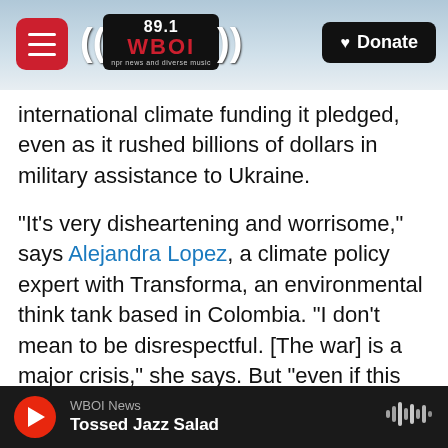89.1 WBOI — npr news and diverse music | Donate
international climate funding it pledged, even as it rushed billions of dollars in military assistance to Ukraine.
"It's very disheartening and worrisome," says Alejandra Lopez, a climate policy expert with Transforma, an environmental think tank based in Colombia. "I don't mean to be disrespectful. [The war] is a major crisis," she says. But "even if this [war] is a very scary scenario, climate change continues to be scarier."
The lack of urgent action by the world's wealthiest economy – and the country most culpable for
WBOI News | Tossed Jazz Salad